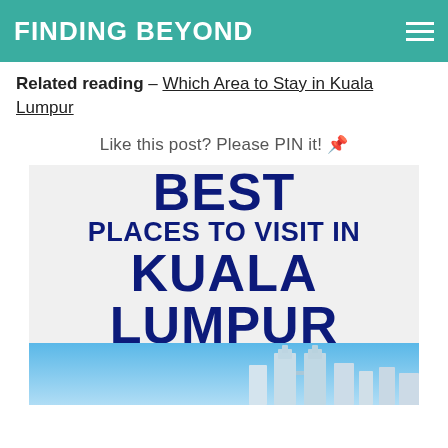FINDING BEYOND
Related reading – Which Area to Stay in Kuala Lumpur
Like this post? Please PIN it! 📌
[Figure (infographic): Infographic with dark blue bold text reading 'BEST PLACES TO VISIT IN KUALA LUMPUR' on a light grey background, with a photo of Kuala Lumpur skyline (Petronas Towers) below.]